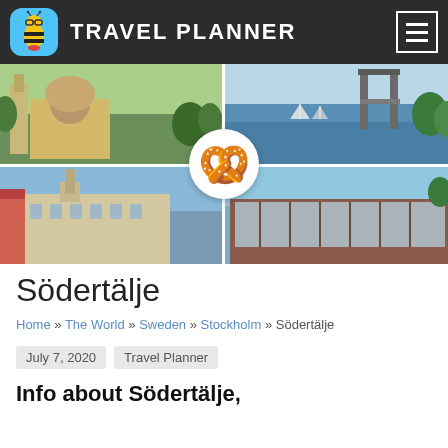TRAVEL PLANNER
[Figure (photo): Four-panel photo collage of Södertälje: top-left shows a yellow church/historic building with dome, top-right shows a canal with a lift bridge and sailboats, bottom-left shows a town hall building, bottom-right shows a glass-facade restaurant building along waterfront. A pretzel emoji circle is centered over the collage.]
Södertälje
Home » The World » Sweden » Stockholm » Södertälje
July 7, 2020   Travel Planner
Info about Södertälje,